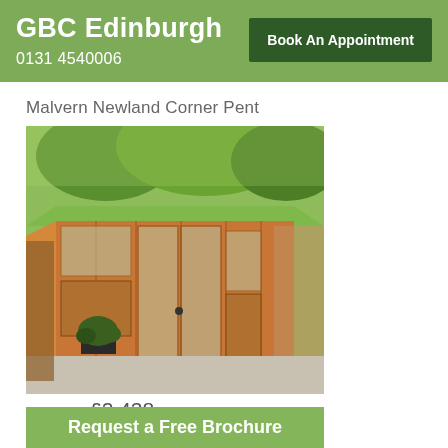GBC Edinburgh   Book An Appointment   0131 4540006
Malvern Newland Corner Pent
[Figure (photo): Photograph of a wooden corner pent summerhouse (Malvern Newland Corner Pent) with large glazed doors and windows, surrounded by gravel and potted plants.]
£2,438
Request a Free Brochure